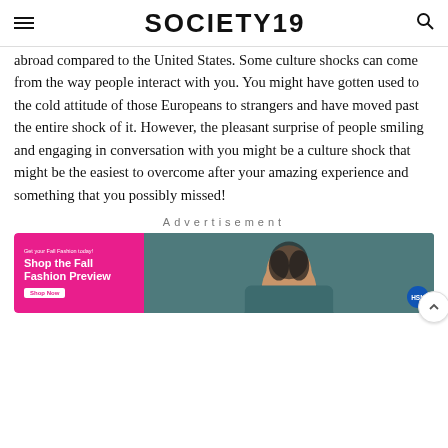SOCIETY19
abroad compared to the United States. Some culture shocks can come from the way people interact with you. You might have gotten used to the cold attitude of those Europeans to strangers and have moved past the entire shock of it. However, the pleasant surprise of people smiling and engaging in conversation with you might be a culture shock that might be the easiest to overcome after your amazing experience and something that you possibly missed!
Advertisement
[Figure (photo): Advertisement banner for HSN Shop the Fall Fashion Preview, featuring a woman in a teal top on a dark teal background, with a pink section on the left displaying the promotional text.]